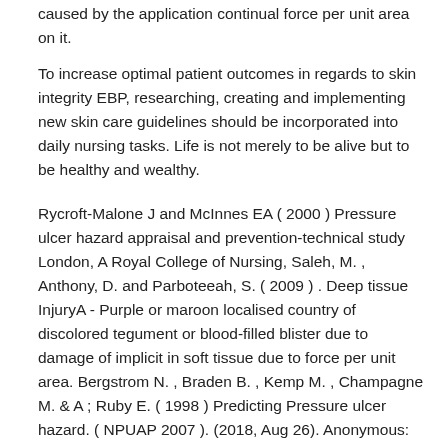caused by the application continual force per unit area on it.
To increase optimal patient outcomes in regards to skin integrity EBP, researching, creating and implementing new skin care guidelines should be incorporated into daily nursing tasks. Life is not merely to be alive but to be healthy and wealthy.
Rycroft-Malone J and McInnes EA ( 2000 ) Pressure ulcer hazard appraisal and prevention-technical study London, A Royal College of Nursing, Saleh, M. , Anthony, D. and Parboteeah, S. ( 2009 ) . Deep tissue InjuryA - Purple or maroon localised country of discolored tegument or blood-filled blister due to damage of implicit in soft tissue due to force per unit area. Bergstrom N. , Braden B. , Kemp M. , Champagne M. & A ; Ruby E. ( 1998 ) Predicting Pressure ulcer hazard. ( NPUAP 2007 ). (2018, Aug 26). Anonymous: Some people believed that health is more important than money, I also have the same concept as them. Embezzlement: Attempting to Find the Easy Way Out Never Solved Encrypted...